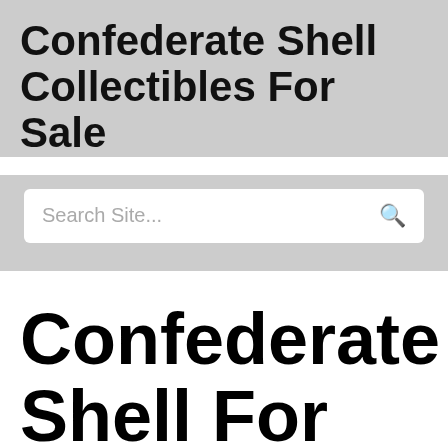Confederate Shell Collectibles For Sale
Search Site...
Confederate Shell For